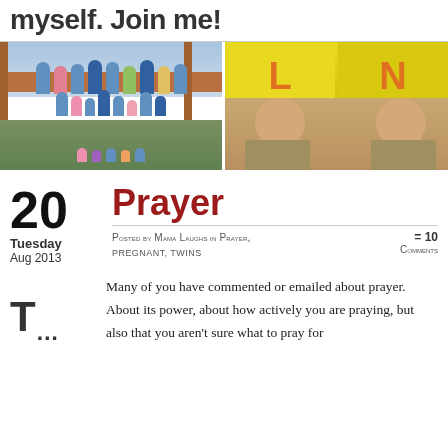myself. Join me!
[Figure (photo): Group family photo of many people in blue and green t-shirts on a porch/deck]
[Figure (photo): Two babies lying on a couch wearing yellow shirts with letters L and N]
Prayer
20 Tuesday Aug 2013
Posted by Mama Laughs in Prayer, pregnant, twins
= 10 Comments
Many of you have commented or emailed about prayer.  About its power, about how actively you are praying, but also that you aren't sure what to pray for